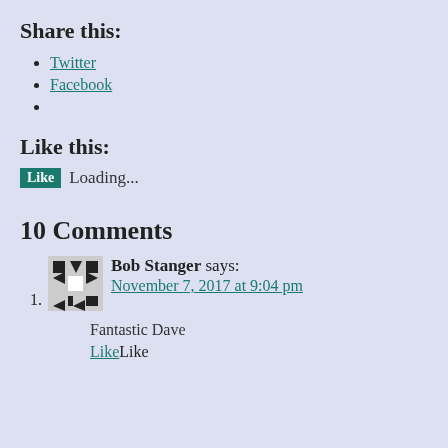Share this:
Twitter
Facebook
Like this:
Like Loading...
10 Comments
Bob Stanger says: November 7, 2017 at 9:04 pm
Fantastic Dave
LikeLike